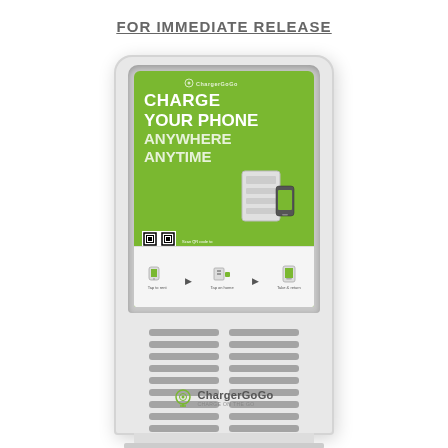FOR IMMEDIATE RELEASE
[Figure (photo): A ChargerGoGo phone charging kiosk station. The kiosk is a tall white/light grey unit with a touchscreen display showing a green background with text 'CHARGE YOUR PHONE ANYWHERE ANYTIME', a QR code, and charging instructions. The lower portion has two columns of charging bays (slots). The ChargerGoGo logo and branding appear at the bottom of the unit.]